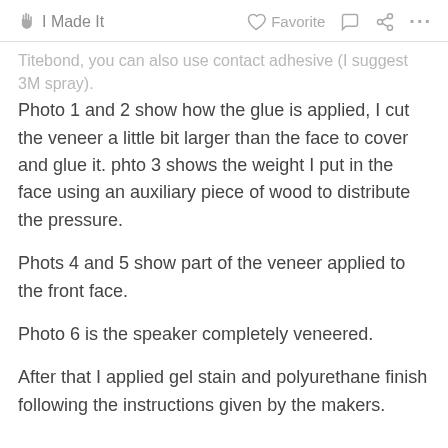I Made It   Favorite   ...
Titebond, you can also use contact adhesive (I suggest 3M spray).
Photo 1 and 2 show how the glue is applied, I cut the veneer a little bit larger than the face to cover and glue it. phto 3 shows the weight I put in the face using an auxiliary piece of wood to distribute the pressure.
Phots 4 and 5 show part of the veneer applied to the front face.
Photo 6 is the speaker completely veneered.
After that I applied gel stain and polyurethane finish following the instructions given by the makers.